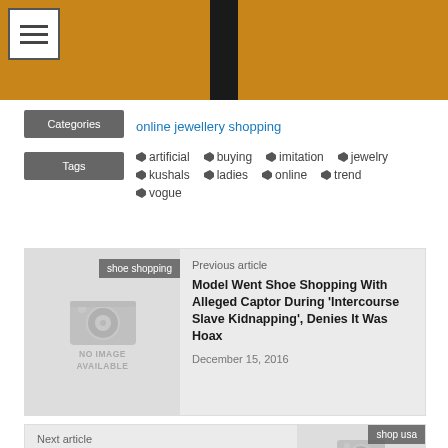[Figure (photo): Top banner with orange/golden background, dark vertical shape in center, menu hamburger icon in top-left corner]
Categories: online jewellery shopping
Tags: artificial, buying, imitation, jewelry, kushals, ladies, online, trend, vogue
Previous article
Model Went Shoe Shopping With Alleged Captor During 'Intercourse Slave Kidnapping', Denies It Was Hoax
December 15, 2016
Next article
December 16, 2016